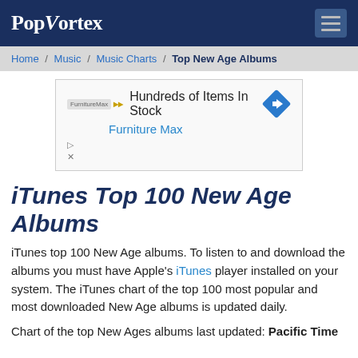PopVortex
Home / Music / Music Charts / Top New Age Albums
[Figure (infographic): Advertisement banner: FurnitureMax logo, text 'Hundreds of Items In Stock', 'Furniture Max' link, blue diamond arrow icon, ad controls]
iTunes Top 100 New Age Albums
iTunes top 100 New Age albums. To listen to and download the albums you must have Apple's iTunes player installed on your system. The iTunes chart of the top 100 most popular and most downloaded New Age albums is updated daily.
Chart of the top New Ages albums last updated: Pacific Time